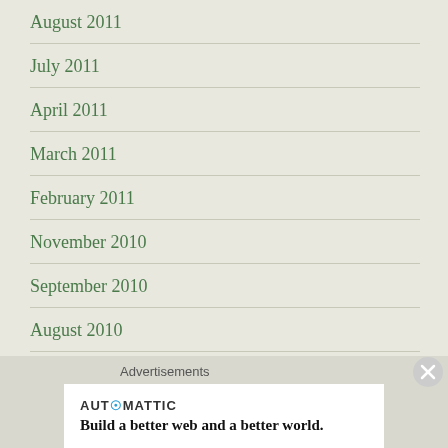August 2011
July 2011
April 2011
March 2011
February 2011
November 2010
September 2010
August 2010
July 2010
May 2010
March 2010
February 2010
Advertisements
[Figure (logo): Automattic logo with tagline: Build a better web and a better world.]